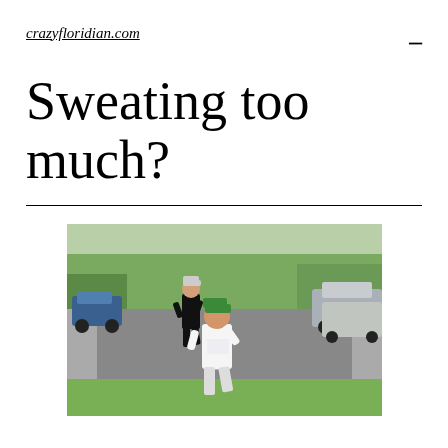crazyfloridian.com
Sweating too much?
[Figure (photo): Two people running on a suburban road. In the foreground, a child wearing a white t-shirt and green cap runs toward the camera with one arm raised. Behind them, an adult in a black outfit and cap runs further back. Cars and green trees are visible in the background.]